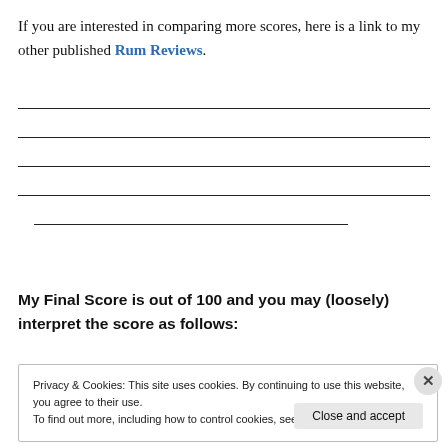If you are interested in comparing more scores, here is a link to my other published Rum Reviews.
My Final Score is out of 100 and you may (loosely) interpret the score as follows:
Privacy & Cookies: This site uses cookies. By continuing to use this website, you agree to their use.
To find out more, including how to control cookies, see here: Cookie Policy